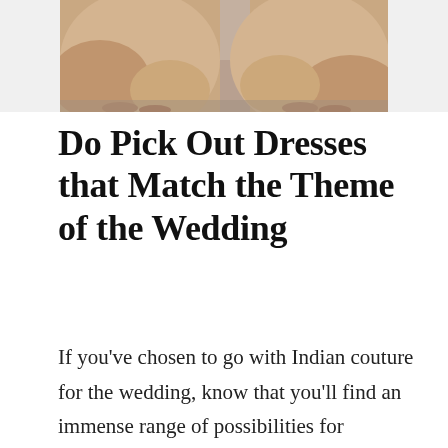[Figure (photo): Bottom portion of two people wearing rose gold/champagne Indian-style long dresses with embellishments, standing on sandals against a neutral background]
Do Pick Out Dresses that Match the Theme of the Wedding
If you've chosen to go with Indian couture for the wedding, know that you'll find an immense range of possibilities for bridesmaids' dresses that all your friends will love to wear. Have you opted for the